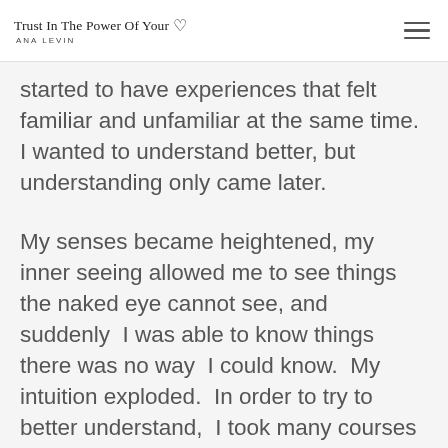Trust In The Power Of Your ♡ ANA LEVIN
started to have experiences that felt familiar and unfamiliar at the same time.  I wanted to understand better, but understanding only came later.
My senses became heightened, my inner seeing allowed me to see things the naked eye cannot see, and suddenly  I was able to know things there was no way  I could know.  My intuition exploded.  In order to try to better understand,  I took many courses and spent time alone deeply connecting to the healing abilities that were pouring